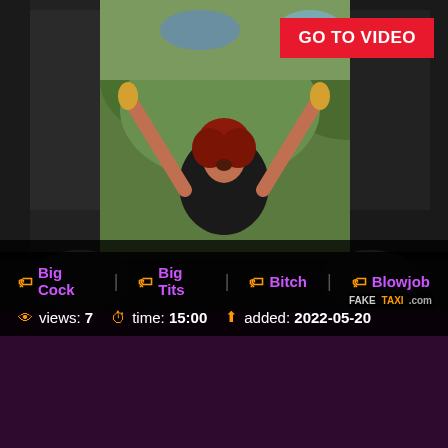[Figure (photo): Video thumbnail showing a woman with red hair inside a taxi cab with arms raised, green foliage visible through window]
GO TO VIDEO
🏷 Big Cock  🏷 Big Tits  🏷 Bitch  🏷 Blowjob
👁 views: 7  🕐 time: 15:00  ⬆ added: 2022-05-20
FAKETAXI.com